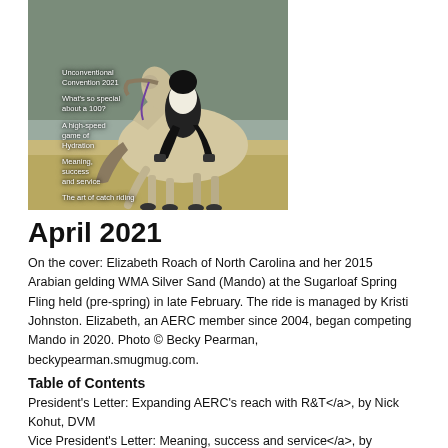[Figure (photo): Magazine cover showing a rider on a gray/buckskin Arabian horse at a canter, outdoors with trees in background. Text overlays on left side list article titles including 'Unconventional Convention 2021', 'What's so special about a 100?', 'A high-speed game of Hydration', 'Meaning, success and service', 'The art of catch riding'.]
April 2021
On the cover: Elizabeth Roach of North Carolina and her 2015 Arabian gelding WMA Silver Sand (Mando) at the Sugarloaf Spring Fling held (pre-spring) in late February. The ride is managed by Kristi Johnston. Elizabeth, an AERC member since 2004, began competing Mando in 2020. Photo © Becky Pearman, beckypearman.smugmug.com.
Table of Contents
President's Letter: Expanding AERC's reach with R&T</a>, by Nick Kohut, DVM
Vice President's Letter: Meaning, success and service</a>, by